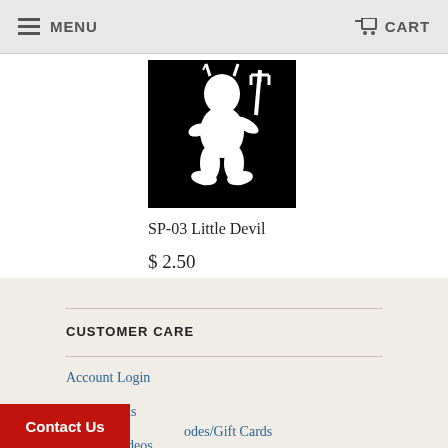MENU  CART
[Figure (illustration): Black background product image showing a white silhouette of a little devil character holding a pitchfork]
SP-03 Little Devil
$ 2.50
CUSTOMER CARE
Account Login
Order Status
Tutorial Videos
odes/Gift Cards